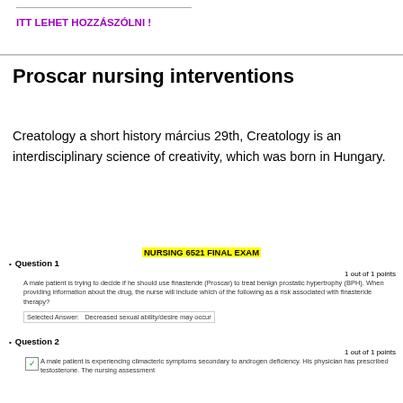ITT LEHET HOZZÁSZÓLNI !
Proscar nursing interventions
Creatology a short history március 29th, Creatology is an interdisciplinary science of creativity, which was born in Hungary.
NURSING 6521 FINAL EXAM
Question 1
1 out of 1 points
A male patient is trying to decide if he should use finasteride (Proscar) to treat benign prostatic hypertrophy (BPH). When providing information about the drug, the nurse will include which of the following as a risk associated with finasteride therapy?
Selected Answer:  Decreased sexual ability/desire may occur
Question 2
1 out of 1 points
A male patient is experiencing climacteric symptoms secondary to androgen deficiency. His physician has prescribed testosterone. The nursing assessment